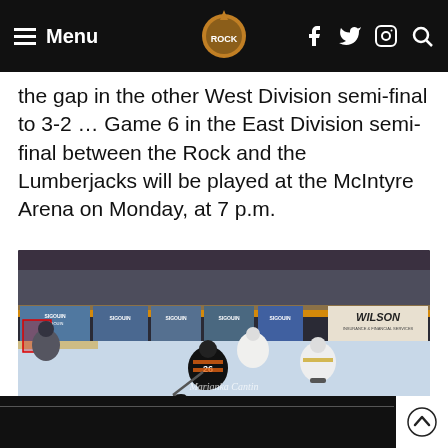Menu [hamburger icon] [Rock logo] [Facebook] [Twitter] [Instagram] [Search]
the gap in the other West Division semi-final to 3-2 … Game 6 in the East Division semi-final between the Rock and the Lumberjacks will be played at the McIntyre Arena on Monday, at 7 p.m.
[Figure (photo): Hockey game photo showing players on ice rink. A player in a black and orange jersey handles the puck near center ice, with opposing players in white jerseys nearby. Arena boards show sponsor signs including Sigouin, Wilson, Camisona, and Chevy GMC. Watermark reads Marianka Cantin Photographe.]